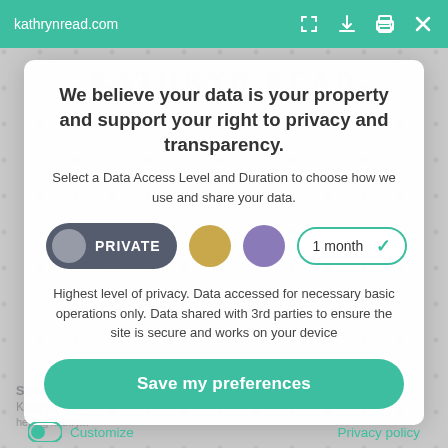kathrynread.com
We believe your data is your property and support your right to privacy and transparency.
Select a Data Access Level and Duration to choose how we use and share your data.
[Figure (infographic): Privacy level selector showing PRIVATE button (dark grey pill with grey circle icon), a gold circle, a purple circle, and a dropdown reading '1 month' with a teal checkmark arrow]
Highest level of privacy. Data accessed for necessary basic operations only. Data shared with 3rd parties to ensure the site is secure and works on your device
Save my preferences
Customize
Privacy policy